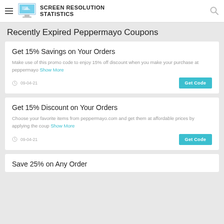SCREEN RESOLUTION STATISTICS
Recently Expired Peppermayo Coupons
Get 15% Savings on Your Orders
Make use of this promo code to enjoy 15% off discount when you make your purchase at peppermayo Show More
09-04-21
Get 15% Discount on Your Orders
Choose your favorite items from peppermayo.com and get them at affordable prices by applying the coup Show More
09-04-21
Save 25% on Any Order